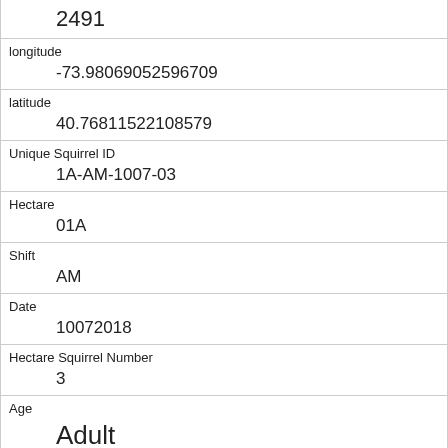| Field | Value |
| --- | --- |
|  | 2491 |
| longitude | -73.98069052596709 |
| latitude | 40.76811522108579 |
| Unique Squirrel ID | 1A-AM-1007-03 |
| Hectare | 01A |
| Shift | AM |
| Date | 10072018 |
| Hectare Squirrel Number | 3 |
| Age | Adult |
| Primary Fur Color | Gray |
| Highlight Fur Color |  |